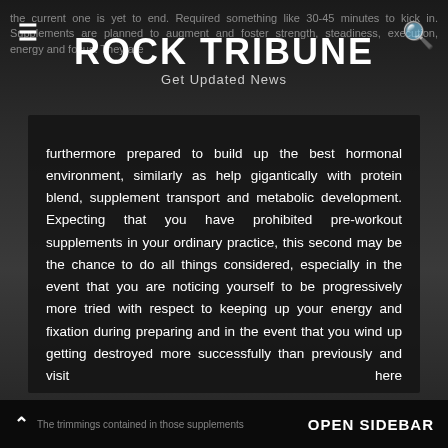ROCK TRIBUNE
Get Updated News
the current one is yet to end. Required something like 30-45 minutes to kick in. Supplements are planned to augment and foster strength, steadiness, execution, energy and focus. They are furthermore prepared to build up the best hormonal environment, similarly as help gigantically with protein blend, supplement transport and metabolic development. Expecting that you have prohibited pre-workout supplements in your ordinary practice, this second may be the chance to do all things considered, especially in the event that you are noticing yourself to be progressively more tried with respect to keeping up your energy and fixation during preparing and in the event that you wind up getting destroyed more successfully than previously and visit here https://www.muscleandfitness.com/supplements/c4-pre-workout-review/ to know more details.
The trimmings contained in those supplements
OPEN SIDEBAR